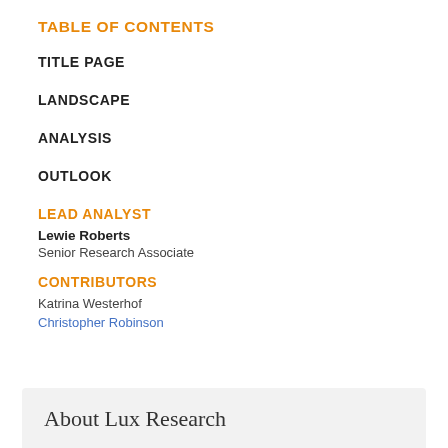TABLE OF CONTENTS
TITLE PAGE
LANDSCAPE
ANALYSIS
OUTLOOK
LEAD ANALYST
Lewie Roberts
Senior Research Associate
CONTRIBUTORS
Katrina Westerhof
Christopher Robinson
About Lux Research